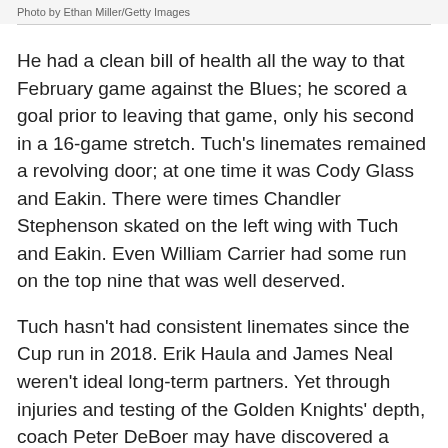Photo by Ethan Miller/Getty Images
He had a clean bill of health all the way to that February game against the Blues; he scored a goal prior to leaving that game, only his second in a 16-game stretch. Tuch’s linemates remained a revolving door; at one time it was Cody Glass and Eakin. There were times Chandler Stephenson skated on the left wing with Tuch and Eakin. Even William Carrier had some run on the top nine that was well deserved.
Tuch hasn't had consistent linemates since the Cup run in 2018. Erik Haula and James Neal weren’t ideal long-term partners. Yet through injuries and testing of the Golden Knights’ depth, coach Peter DeBoer may have discovered a combination that can cure every